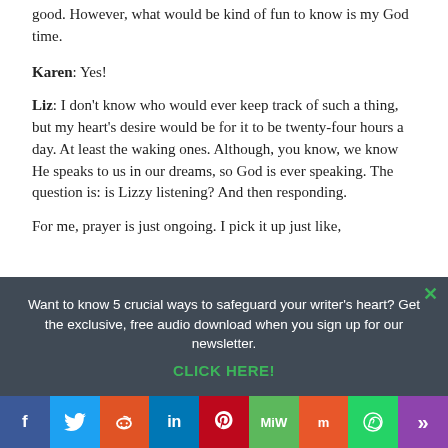good. However, what would be kind of fun to know is my God time.
Karen: Yes!
Liz: I don't know who would ever keep track of such a thing, but my heart's desire would be for it to be twenty-four hours a day. At least the waking ones. Although, you know, we know He speaks to us in our dreams, so God is ever speaking. The question is: is Lizzy listening? And then responding.
For me, prayer is just ongoing. I pick it up just like,
Want to know 5 crucial ways to safeguard your writer's heart? Get the exclusive, free audio download when you sign up for our newsletter.
CLICK HERE!
f  Twitter  Reddit  in  Pinterest  MW  Mix  WhatsApp  Share